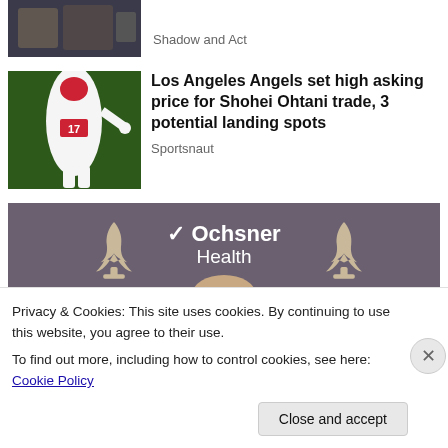[Figure (photo): Partial top article image (cut off at top), dark/awards theme]
Shadow and Act
[Figure (photo): Baseball player Shohei Ohtani in Los Angeles Angels jersey #17 pitching]
Los Angeles Angels set high asking price for Shohei Ohtani trade, 3 potential landing spots
Sportsnaut
[Figure (photo): Press conference backdrop with Ochsner Health logo and New Orleans Saints fleur-de-lis symbols, person partially visible at bottom]
Privacy & Cookies: This site uses cookies. By continuing to use this website, you agree to their use.
To find out more, including how to control cookies, see here: Cookie Policy
Close and accept